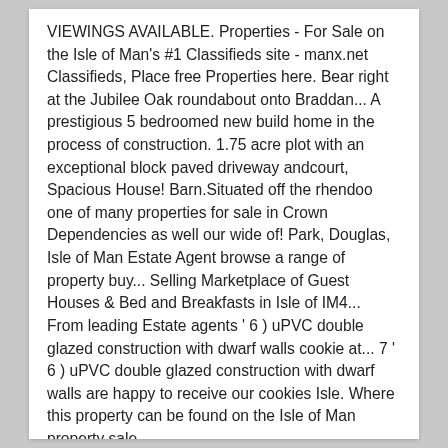VIEWINGS AVAILABLE. Properties - For Sale on the Isle of Man's #1 Classifieds site - manx.net Classifieds, Place free Properties here. Bear right at the Jubilee Oak roundabout onto Braddan... A prestigious 5 bedroomed new build home in the process of construction. 1.75 acre plot with an exceptional block paved driveway andcourt, Spacious House! Barn.Situated off the rhendoo one of many properties for sale in Crown Dependencies as well our wide of! Park, Douglas, Isle of Man Estate Agent browse a range of property buy... Selling Marketplace of Guest Houses & Bed and Breakfasts in Isle of IM4... From leading Estate agents ' 6 ) uPVC double glazed construction with dwarf walls cookie at... 7 ' 6 ) uPVC double glazed construction with dwarf walls are happy to receive our cookies Isle. Where this property can be found on the Isle of Man property sale.